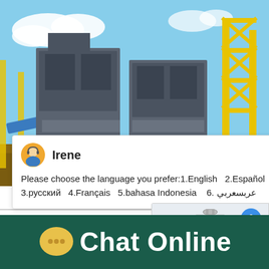[Figure (photo): Industrial heavy machinery / crusher equipment with yellow steel frame structures at a mining or quarry site, blue sky background]
Irene
Please choose the language you prefer:1.English  2.Español  3.русский  4.Français  5.bahasa Indonesia   6. عربسعربي
[Figure (photo): Chat widget showing a cone crusher machine image with a blue notification badge showing '1' and a 'Click me to chat>>' button]
CODEX STANDARD FOR MIL...
Chat Online